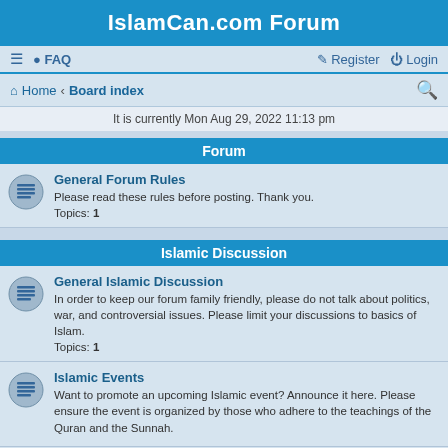IslamCan.com Forum
≡  FAQ    Register   Login
Home · Board index
It is currently Mon Aug 29, 2022 11:13 pm
Forum
General Forum Rules
Please read these rules before posting. Thank you.
Topics: 1
Islamic Discussion
General Islamic Discussion
In order to keep our forum family friendly, please do not talk about politics, war, and controversial issues. Please limit your discussions to basics of Islam.
Topics: 1
Islamic Events
Want to promote an upcoming Islamic event? Announce it here. Please ensure the event is organized by those who adhere to the teachings of the Quran and the Sunnah.
Requests for Dua
Are you or someone you know facing difficulties? This is the place where you can ask others to make dua.